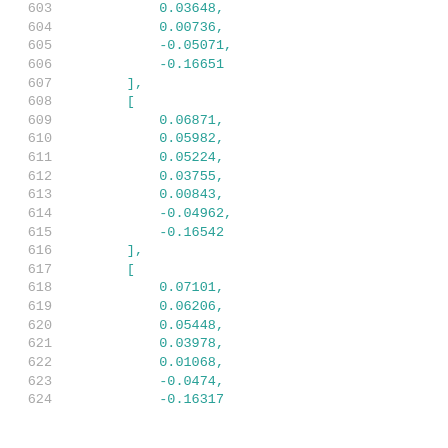603    0.03648,
604    0.00736,
605    -0.05071,
606    -0.16651
607    ],
608    [
609    0.06871,
610    0.05982,
611    0.05224,
612    0.03755,
613    0.00843,
614    -0.04962,
615    -0.16542
616    ],
617    [
618    0.07101,
619    0.06206,
620    0.05448,
621    0.03978,
622    0.01068,
623    -0.0474,
624    -0.16317